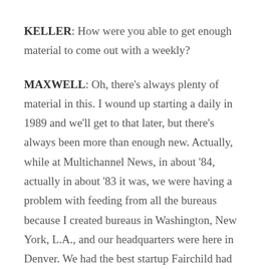KELLER: How were you able to get enough material to come out with a weekly?
MAXWELL: Oh, there's always plenty of material in this. I wound up starting a daily in 1989 and we'll get to that later, but there's always been more than enough new. Actually, while at Multichannel News, in about '84, actually in about '83 it was, we were having a problem with feeding from all the bureaus because I created bureaus in Washington, New York, L.A., and our headquarters were here in Denver. We had the best startup Fairchild had